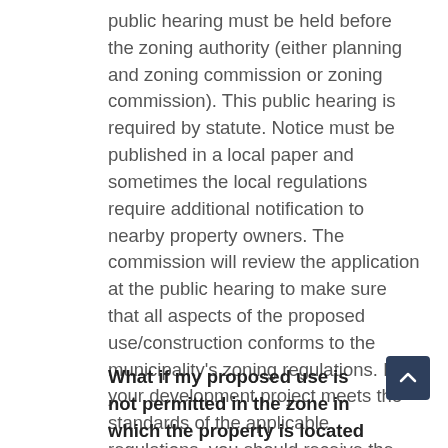public hearing must be held before the zoning authority (either planning and zoning commission or zoning commission). This public hearing is required by statute. Notice must be published in a local paper and sometimes the local regulations require additional notification to nearby property owners. The commission will review the application at the public hearing to make sure that all aspects of the proposed use/construction conforms to the municipality's zoning regulations. If your development project meets the standards of the applicable regulations, you should receive the special permit. If your application is denied, you may appeal to the Superior Court.
What if my proposed use is not permitted in the zone in which the property is located or the use does not meet all of the development requirements of the zone?